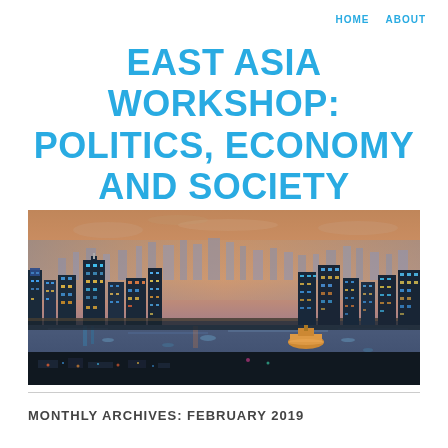HOME   ABOUT
EAST ASIA WORKSHOP: POLITICS, ECONOMY AND SOCIETY
[Figure (photo): Aerial nighttime skyline view of a major East Asian city with a river in the foreground, illuminated buildings, and a purple-orange dusk sky]
MONTHLY ARCHIVES: FEBRUARY 2019